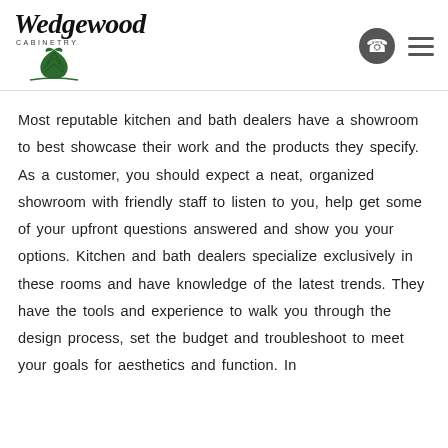Wedgewood Cabinetry
Most reputable kitchen and bath dealers have a showroom to best showcase their work and the products they specify. As a customer, you should expect a neat, organized showroom with friendly staff to listen to you, help get some of your upfront questions answered and show you your options. Kitchen and bath dealers specialize exclusively in these rooms and have knowledge of the latest trends. They have the tools and experience to walk you through the design process, set the budget and troubleshoot to meet your goals for aesthetics and function. In